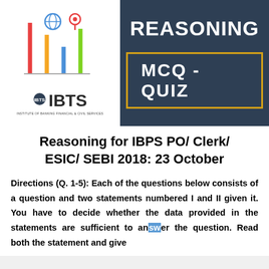[Figure (logo): IBTS logo with colorful bar chart graphic and globe/location pin icons above the IBTS name]
[Figure (infographic): Dark navy blue panel with REASONING text at top and MCQ-QUIZ in a gold-bordered box below]
Reasoning for IBPS PO/ Clerk/ ESIC/ SEBI 2018: 23 October
Directions (Q. 1-5): Each of the questions below consists of a question and two statements numbered I and II given it. You have to decide whether the data provided in the statements are sufficient to answer the question. Read both the statement and give